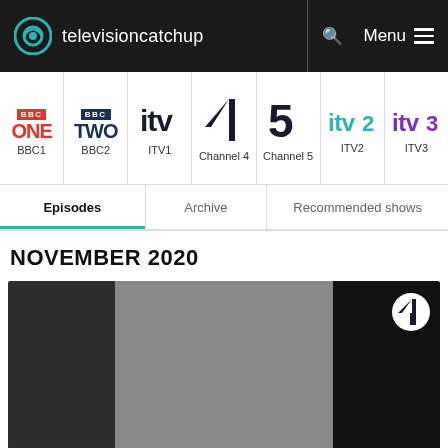televisioncatchup — Menu
[Figure (screenshot): Channel navigation bar showing BBC ONE, BBC2, ITV1, Channel 4, Channel 5, ITV2, ITV3 logos with labels]
Episodes | Archive | Recommended shows (tab navigation)
NOVEMBER 2020
[Figure (photo): Video thumbnail with dark left third, grey middle section, dark right section with Channel 4 badge icon in top right corner]
Home ❯ The Jellies!